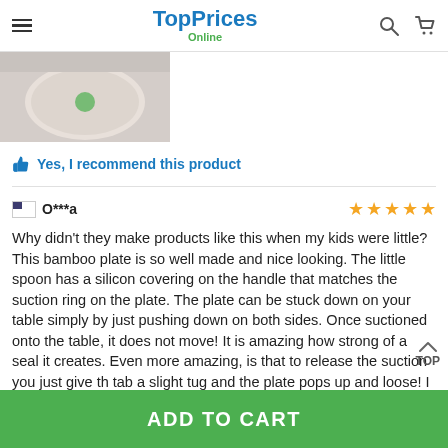TopPrices Online
[Figure (photo): Partial view of a product photo showing a bamboo plate with suction ring and green silicone element]
Yes, I recommend this product
O***a — 5 stars
Why didn't they make products like this when my kids were little? This bamboo plate is so well made and nice looking. The little spoon has a silicon covering on the handle that matches the suction ring on the plate. The plate can be stuck down on your table simply by just pushing down on both sides. Once suctioned onto the table, it does not move! It is amazing how strong of a seal it creates. Even more amazing, is that to release the suction you just give th tab a slight tug and the plate pops up and loose! I hand was dishes, so this gets washed by hand also. The plate is a gen
ADD TO CART